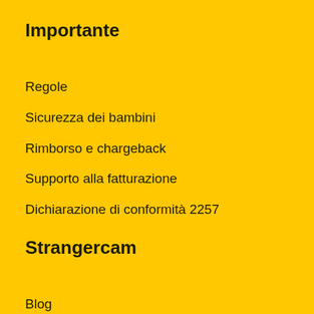Importante
Regole
Sicurezza dei bambini
Rimborso e chargeback
Supporto alla fatturazione
Dichiarazione di conformità 2257
Strangercam
Blog
La privacy
Terms
Sitemap
Contatto
Seguiteci